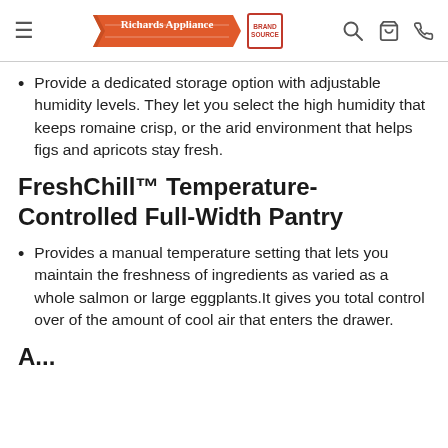Richards Appliance | Brand Source
Provide a dedicated storage option with adjustable humidity levels. They let you select the high humidity that keeps romaine crisp, or the arid environment that helps figs and apricots stay fresh.
FreshChill™ Temperature-Controlled Full-Width Pantry
Provides a manual temperature setting that lets you maintain the freshness of ingredients as varied as a whole salmon or large eggplants.It gives you total control over of the amount of cool air that enters the drawer.
A...